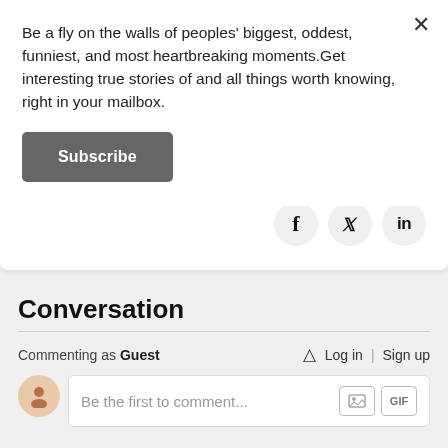Be a fly on the walls of peoples' biggest, oddest, funniest, and most heartbreaking moments.Get interesting true stories of and all things worth knowing, right in your mailbox.
Subscribe
[Figure (infographic): Social share buttons: Facebook (f), Twitter (bird), LinkedIn (in) icons in circular grey buttons]
Conversation
Commenting as Guest   Log in  Sign up
Be the first to comment...